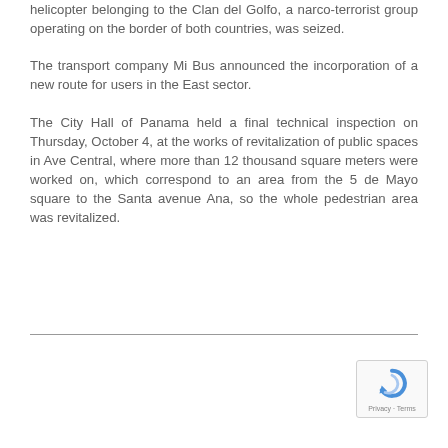helicopter belonging to the Clan del Golfo, a narco-terrorist group operating on the border of both countries, was seized.
The transport company Mi Bus announced the incorporation of a new route for users in the East sector.
The City Hall of Panama held a final technical inspection on Thursday, October 4, at the works of revitalization of public spaces in Ave Central, where more than 12 thousand square meters were worked on, which correspond to an area from the 5 de Mayo square to the Santa avenue Ana, so the whole pedestrian area was revitalized.